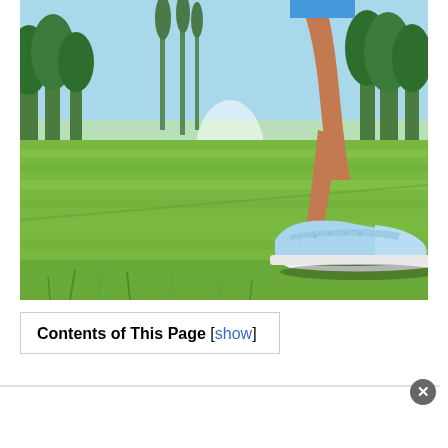[Figure (photo): Close-up photo of a person's leg and foot wearing a light blue sneaker, walking or running on a green grass field. Background shows trees, a water fountain/sprinkler, and a blue sky. The scene appears to be a park or golf course.]
Contents of This Page [show]